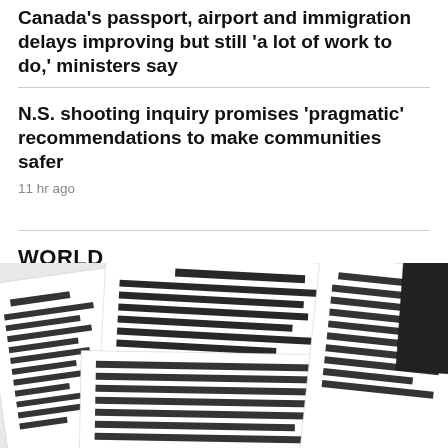Canada's passport, airport and immigration delays improving but still 'a lot of work to do,' ministers say
N.S. shooting inquiry promises 'pragmatic' recommendations to make communities safer
11 hr ago
WORLD
[Figure (photo): Photo of multiple overlapping heavily redacted government documents with black bars covering classified text.]